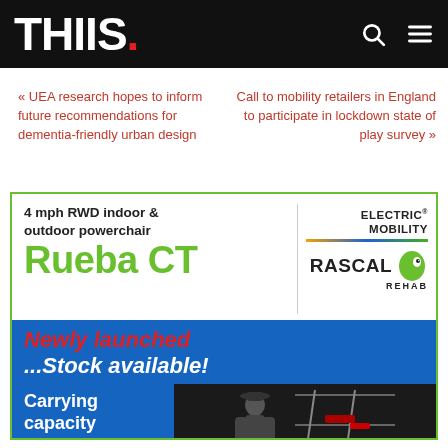THIIS.
« UEA research hopes to inform future recommendations for dementia-friendly urban design
Call to mobility retailers in England to participate in lockdown state of play survey »
[Figure (illustration): Advertisement for Electric Mobility Rascal Rehab 'Rueba CT' 4 mph RWD indoor & outdoor powerchair. White top section with product name in green, blue bottom section with 'Newly launched ...Stock available!' in red and white, and 'Carrying capacity upto 25 stone' text with a photo of a person.]